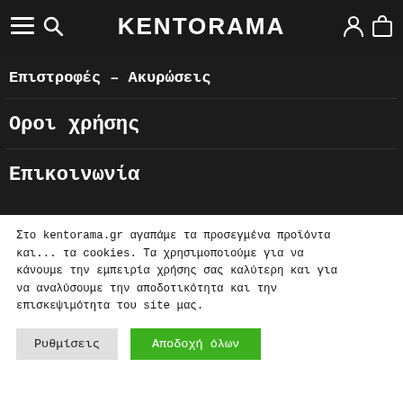KENTORAMA
Επιστροφές – Ακυρώσεις
Οροι χρήσης
Επικοινωνία
Στο kentorama.gr αγαπάμε τα προσεγμένα προϊόντα και... τα cookies. Τα χρησιμοποιούμε για να κάνουμε την εμπειρία χρήσης σας καλύτερη και για να αναλύσουμε την αποδοτικότητα και την επισκεψιμότητα του site μας.
Ρυθμίσεις | Αποδοχή όλων